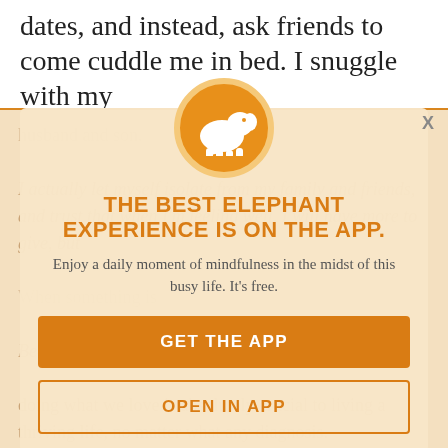dates, and instead, ask friends to come cuddle me in bed. I snuggle with my
husband and son.
I actually let myself isolate from my family and friends, and trust that when I'm feeling well, I will have more to give, but...
[Figure (logo): Elephant Journal app logo — white elephant silhouette on an orange circle with lighter orange ring border]
THE BEST ELEPHANT EXPERIENCE IS ON THE APP.
Enjoy a daily moment of mindfulness in the midst of this busy life. It's free.
Because I feel like I'm living proof that
doing what we love is absolutely crucial to living a thriving life, no matter what any diagnosis...
There is so much in saying no to anything...
GET THE APP
OPEN IN APP